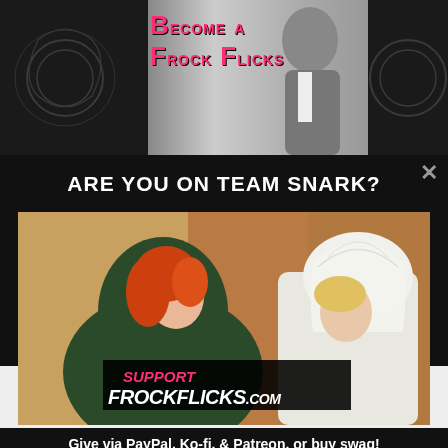[Figure (screenshot): Top banner area with dark ornamental background on left and right sides, black and white photo of a person on the right side, and pink text 'Become a Frock Flicks' in the center-left area]
ARE YOU ON TEAM SNARK?
[Figure (photo): Color photograph of two women in period costumes facing each other. Left woman has red hair and wears a dark green hooded cloak. Right woman wears a white veil/headpiece. Center overlay shows 'SUPPORT FROCKFLICKS.COM' in bold pink and white text on a black banner.]
Give via PayPal, Ko-fi, & Patreon, or buy swag!
Support Frock Flicks